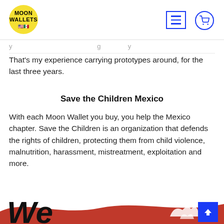Moon Wallets
y... That's my experience carrying prototypes around, for the last three years.
Save the Children Mexico
With each Moon Wallet you buy, you help the Mexico chapter. Save the Children is an organization that defends the rights of children, protecting them from child violence, malnutrition, harassment, mistreatment, exploitation and more.
[Figure (illustration): Bottom portion of a promotional image showing large bold italic 'We' text in black and a red swoosh/brush stroke graphic with white hand silhouettes]